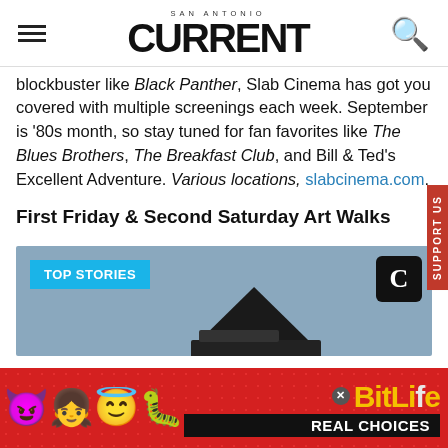SAN ANTONIO CURRENT
blockbuster like Black Panther, Slab Cinema has got you covered with multiple screenings each week. September is '80s month, so stay tuned for fan favorites like The Blues Brothers, The Breakfast Club, and Bill & Ted's Excellent Adventure. Various locations, slabcinema.com.
First Friday & Second Saturday Art Walks
[Figure (screenshot): Top Stories card with blue badge reading 'TOP STORIES', Current C logo, and a dark wing/vehicle shape against a gray-blue background]
[Figure (photo): BitLife advertisement banner on red polka-dot background with emoji characters (devil, girl, angel, sperm) and BitLife logo with 'REAL CHOICES' text]